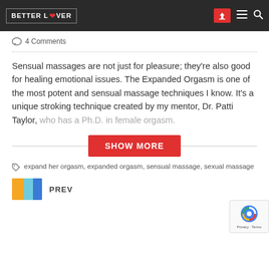BETTER LOVER
4 Comments
Sensual massages are not just for pleasure; they’re also good for healing emotional issues. The Expanded Orgasm is one of the most potent and sensual massage techniques I know. It’s a unique stroking technique created by my mentor, Dr. Patti Taylor, who has a Ph.D. in female orgasm.
SHOW MORE
expand her orgasm, expanded orgasm, sensual massage, sexual massage
PREV